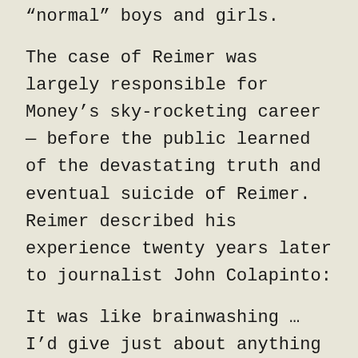“normal” boys and girls.
The case of Reimer was largely responsible for Money’s sky-rocketing career — before the public learned of the devastating truth and eventual suicide of Reimer. Reimer described his experience twenty years later to journalist John Colapinto:
It was like brainwashing … I’d give just about anything to go to a hypnotist to black out my whole past. Because it’s torture. What they did to you in the body is sometimes not near as bad as what they did to you in the mind — with the psychological warfare in your head. [24]